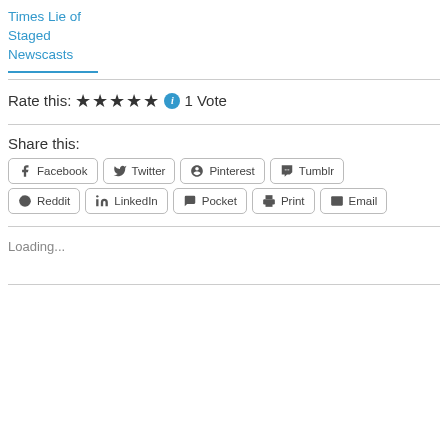Times Lie of Staged Newscasts
Rate this: ★★★★★ ℹ 1 Vote
Share this:
Facebook
Twitter
Pinterest
Tumblr
Reddit
LinkedIn
Pocket
Print
Email
Loading...